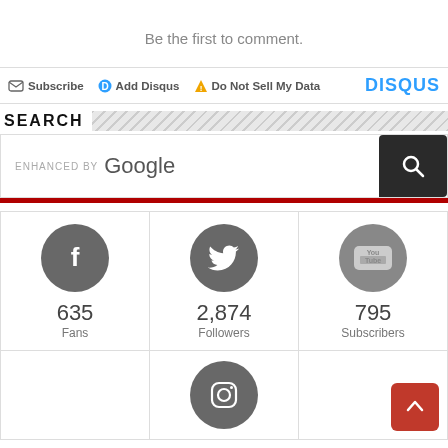Be the first to comment.
Subscribe  Add Disqus  Do Not Sell My Data  DISQUS
SEARCH
[Figure (screenshot): Enhanced by Google search bar with dark search button]
[Figure (infographic): Social media stats: Facebook 635 Fans, Twitter 2,874 Followers, YouTube 795 Subscribers, Instagram icon]
635 Fans
2,874 Followers
795 Subscribers